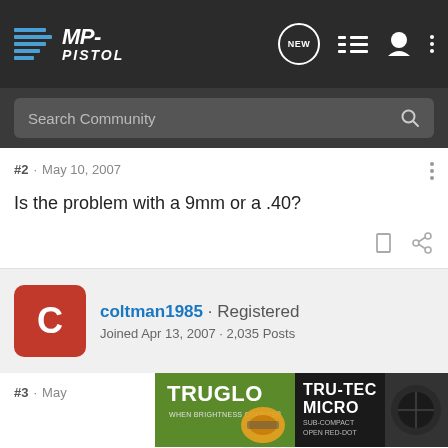MP-PISTOL
Search Community
#2 · May 10, 2007
Is the problem with a 9mm or a .40?
coltman1985 · Registered
Joined Apr 13, 2007 · 2,035 Posts
#3 · May
[Figure (screenshot): TRUGLO TRU-TEC MICRO advertisement banner with red dot sight image]